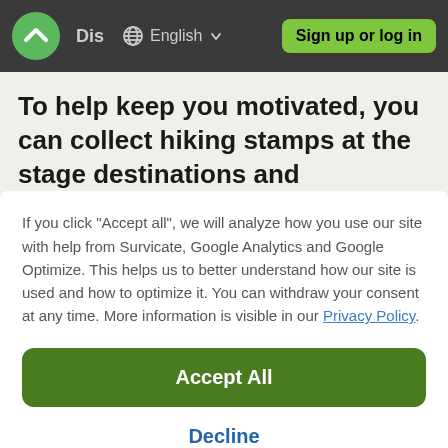[Figure (screenshot): Top navigation bar with green logo circle (chevron icon), 'Dis' text, globe icon with 'English' dropdown, and green 'Sign up or log in' button on dark gray background]
To help keep you motivated, you can collect hiking stamps at the stage destinations and
If you click "Accept all", we will analyze how you use our site with help from Survicate, Google Analytics and Google Optimize. This helps us to better understand how our site is used and how to optimize it. You can withdraw your consent at any time. More information is visible in our Privacy Policy.
Accept All
Decline
Details